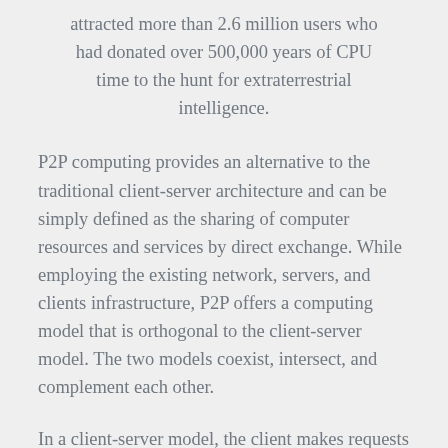attracted more than 2.6 million users who had donated over 500,000 years of CPU time to the hunt for extraterrestrial intelligence.
P2P computing provides an alternative to the traditional client-server architecture and can be simply defined as the sharing of computer resources and services by direct exchange. While employing the existing network, servers, and clients infrastructure, P2P offers a computing model that is orthogonal to the client-server model. The two models coexist, intersect, and complement each other.
In a client-server model, the client makes requests of the server with which it is networked. The server, typically an unattended system, responds to the requests and returns them. With P2P...